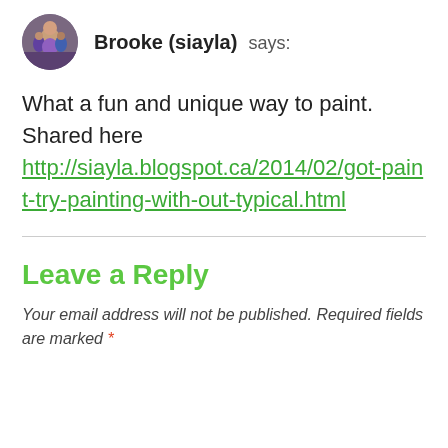[Figure (photo): Circular avatar photo of Brooke (siayla) showing a group of people outdoors]
Brooke (siayla) says:
What a fun and unique way to paint. Shared here http://siayla.blogspot.ca/2014/02/got-paint-try-painting-with-out-typical.html
Leave a Reply
Your email address will not be published. Required fields are marked *